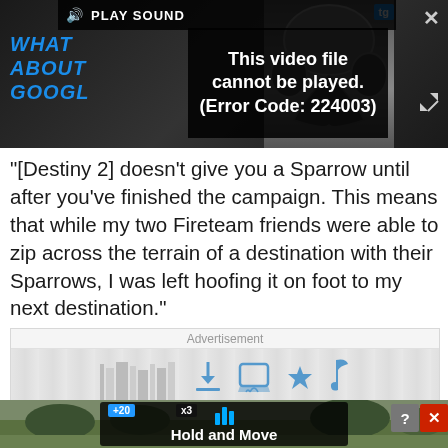[Figure (screenshot): Video player showing error message 'This video file cannot be played. (Error Code: 224003)' with play sound bar and close button]
"[Destiny 2] doesn't give you a Sparrow until after you've finished the campaign. This means that while my two Fireteam friends were able to zip across the terrain of a destination with their Sparrows, I was left hoofing it on foot to my next destination."
[Figure (screenshot): Advertisement section labeled 'Advertisement' with icons and a 'Hold and Move' banner ad at the bottom]